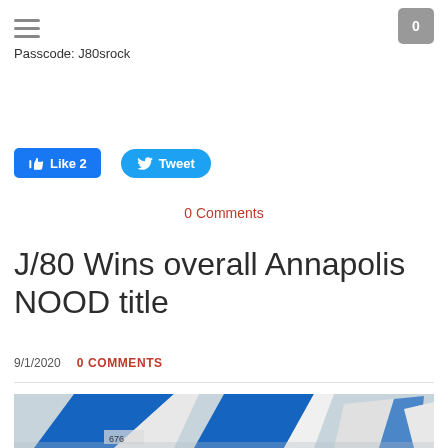Passcode: J80srock
Like 2   Tweet
0 Comments
J/80 Wins overall Annapolis NOOD title
9/1/2020   0 COMMENTS
[Figure (photo): Sailboats with blue spinnaker sails racing, boat number 676 visible]